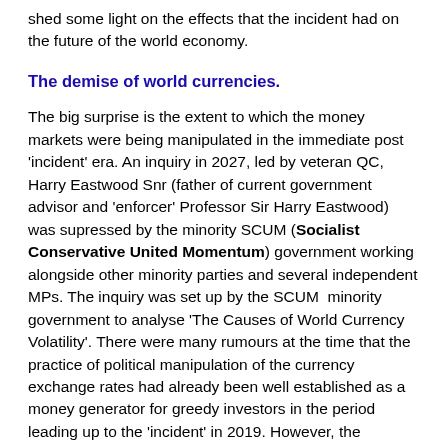shed some light on the effects that the incident had on the future of the world economy.
The demise of world currencies.
The big surprise is the extent to which the money markets were being manipulated in the immediate post 'incident' era. An inquiry in 2027, led by veteran QC, Harry Eastwood Snr (father of current government advisor and 'enforcer' Professor Sir Harry Eastwood) was supressed by the minority SCUM (Socialist Conservative United Momentum) government working alongside other minority parties and several independent MPs. The inquiry was set up by the SCUM  minority government to analyse 'The Causes of World Currency Volatility'. There were many rumours at the time that the practice of political manipulation of the currency exchange rates had already been well established as a money generator for greedy investors in the period leading up to the 'incident' in 2019. However, the Eastwood remit was limited to post 'incident' causes only. The role of Prime Minister was rotated every two months during that time and it is confusing as to who was leading at the time of the